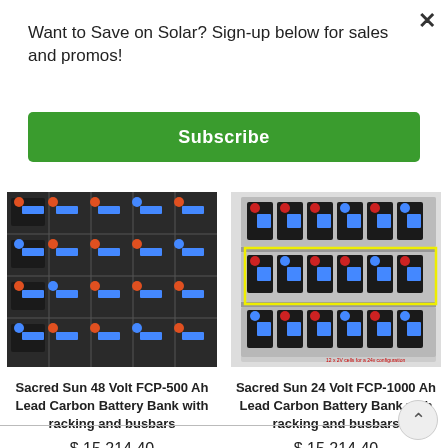Want to Save on Solar? Sign-up below for sales and promos!
Subscribe
[Figure (photo): Sacred Sun 48 Volt FCP-500 Ah Lead Carbon Battery Bank with racking and busbars — photo of battery bank showing rows of batteries with blue and red/orange terminals in a rack]
Sacred Sun 48 Volt FCP-500 Ah Lead Carbon Battery Bank with racking and busbars
$ 15,214.40
[Figure (photo): Sacred Sun 24 Volt FCP-1000 Ah Lead Carbon Battery Bank with racking and busbars — photo of battery bank with yellow outline highlighting 12 x 2V cells for a 24v configuration]
Sacred Sun 24 Volt FCP-1000 Ah Lead Carbon Battery Bank with racking and busbars
$ 15,214.40